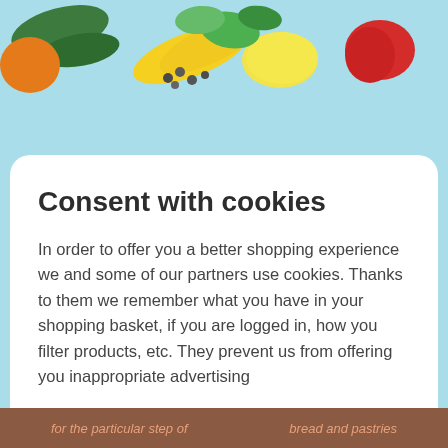[Figure (photo): Colorful fruits and vegetables (peppers, lemon, bananas, herbs, peppercorns) on a light blue background, cropped at the top of the page.]
Consent with cookies
In order to offer you a better shopping experience we and some of our partners use cookies. Thanks to them we remember what you have in your shopping basket, if you are logged in, how you filter products, etc. They prevent us from offering you inappropriate advertising
Settings
Accept all
Only necessary
for the particular step of ... bread and pastries